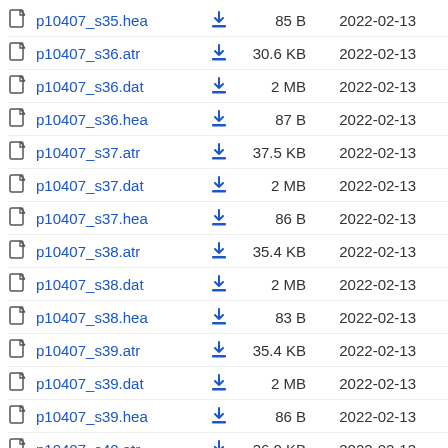| Name |  | Size | Date |
| --- | --- | --- | --- |
| p10407_s35.hea | ⬇ | 85 B | 2022-02-13 |
| p10407_s36.atr | ⬇ | 30.6 KB | 2022-02-13 |
| p10407_s36.dat | ⬇ | 2 MB | 2022-02-13 |
| p10407_s36.hea | ⬇ | 87 B | 2022-02-13 |
| p10407_s37.atr | ⬇ | 37.5 KB | 2022-02-13 |
| p10407_s37.dat | ⬇ | 2 MB | 2022-02-13 |
| p10407_s37.hea | ⬇ | 86 B | 2022-02-13 |
| p10407_s38.atr | ⬇ | 35.4 KB | 2022-02-13 |
| p10407_s38.dat | ⬇ | 2 MB | 2022-02-13 |
| p10407_s38.hea | ⬇ | 83 B | 2022-02-13 |
| p10407_s39.atr | ⬇ | 35.4 KB | 2022-02-13 |
| p10407_s39.dat | ⬇ | 2 MB | 2022-02-13 |
| p10407_s39.hea | ⬇ | 86 B | 2022-02-13 |
| p10407_s40.atr | ⬇ | 36.0 KB | 2022-02-13 |